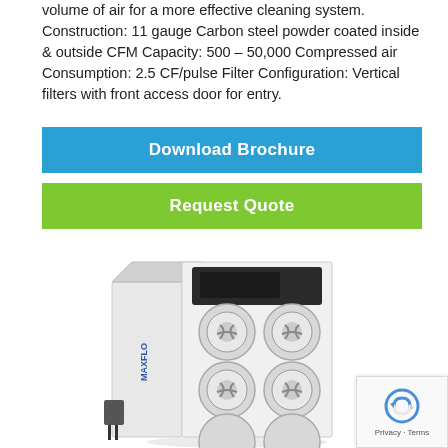volume of air for a more effective cleaning system. Construction: 11 gauge Carbon steel powder coated inside & outside CFM Capacity: 500 – 50,000 Compressed air Consumption: 2.5 CF/pulse Filter Configuration: Vertical filters with front access door for entry.
Download Brochure
Request Quote
[Figure (photo): MAXFLO industrial dust collector unit, white rectangular cabinet with multiple circular filter elements arranged in a 2x3 grid on the front, dark control panel on top, and electrical connection at bottom left.]